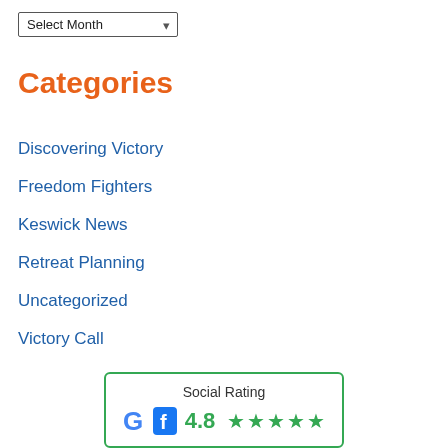[Figure (screenshot): Dropdown select box labeled 'Select Month' with a down arrow]
Categories
Discovering Victory
Freedom Fighters
Keswick News
Retreat Planning
Uncategorized
Victory Call
[Figure (infographic): Social Rating widget with Google and Facebook logos, rating 4.8 with 5 green stars]